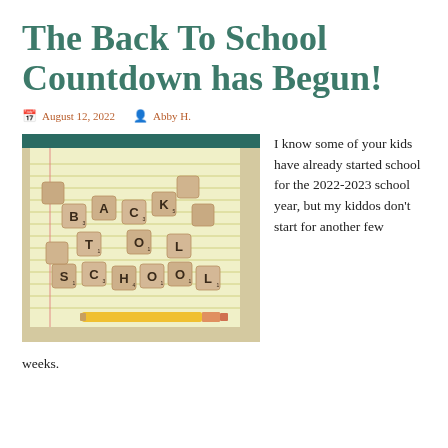The Back To School Countdown has Begun!
August 12, 2022   Abby H.
[Figure (photo): Scrabble tiles spelling BACK TO SCHOOL arranged on yellow lined notebook paper with a yellow pencil]
I know some of your kids have already started school for the 2022-2023 school year, but my kiddos don't start for another few weeks.